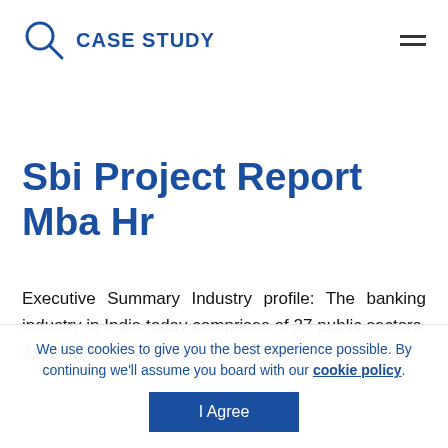CASE STUDY
Sbi Project Report Mba Hr
Executive Summary Industry profile: The banking industry in India today comprises of 27 public sectors, 31 private banks and 29 foreign banks.
We use cookies to give you the best experience possible. By continuing we'll assume you board with our cookie policy. I Agree